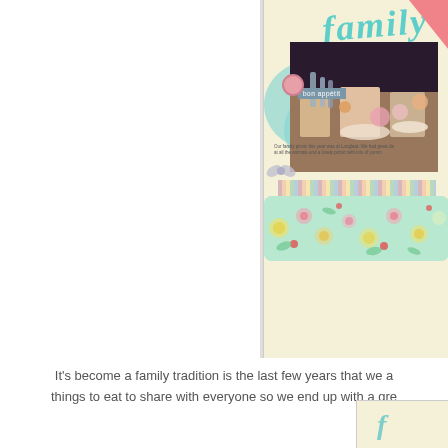[Figure (photo): A scrapbook layout page partially visible, showing a family picnic photo with food and drinks on a table, decorated with teal bubble shapes, 'bon appétit' label, a button embellishment, striped patterned paper, floral border band in mint green, and the word 'family' in teal cursive script at top. A pink triangle accent is in the top right corner. The background is cream/pale yellow.]
It's become a family tradition is the last few years that we a things to eat to share with everyone so we end up with a gre
[Figure (photo): Bottom right corner of another scrapbook page showing cream background with a teal cursive letter 'f' visible, part of the word 'family'.]